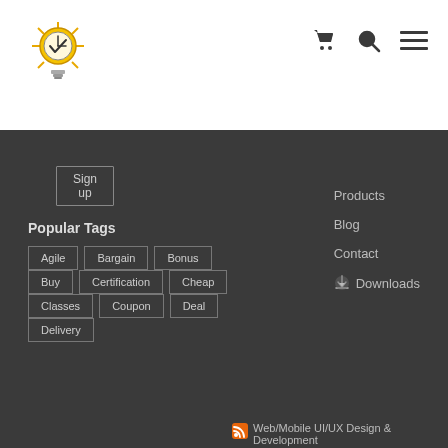[Figure (logo): Lightbulb with clock face logo, yellow/gold color with radiating lines]
[Figure (illustration): Shopping cart icon, search/magnify icon, hamburger menu icon in dark gray]
Sign up
Popular Tags
Agile
Bargain
Bonus
Buy
Certification
Cheap
Classes
Coupon
Deal
Delivery
Products
Blog
Contact
Downloads
Web/Mobile UI/UX Design & Development